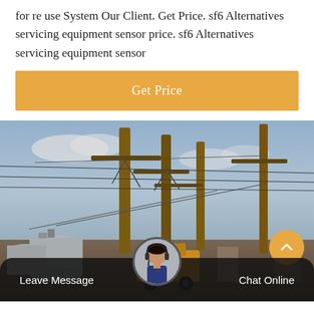for re use System Our Client. Get Price. sf6 Alternatives servicing equipment sensor price. sf6 Alternatives servicing equipment sensor
[Figure (other): Orange 'Get Price' button with rounded edges on white background]
[Figure (photo): Electrical substation with high-voltage transmission equipment, towers, conductors, white cylindrical transformers, and a yellow utility truck. Bottom bar shows 'Leave Message' and 'Chat Online' with a customer service avatar.]